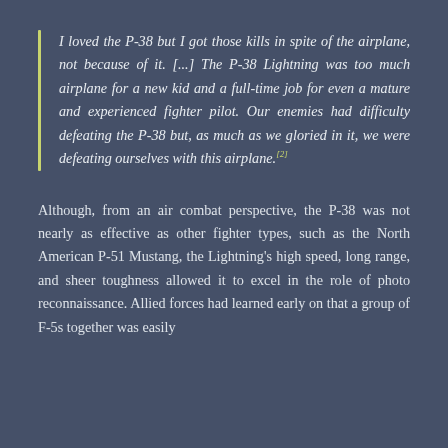I loved the P-38 but I got those kills in spite of the airplane, not because of it. [...] The P-38 Lightning was too much airplane for a new kid and a full-time job for even a mature and experienced fighter pilot. Our enemies had difficulty defeating the P-38 but, as much as we gloried in it, we were defeating ourselves with this airplane.[2]
Although, from an air combat perspective, the P-38 was not nearly as effective as other fighter types, such as the North American P-51 Mustang, the Lightning's high speed, long range, and sheer toughness allowed it to excel in the role of photo reconnaissance. Allied forces had learned early on that a group of F-5s together was easily